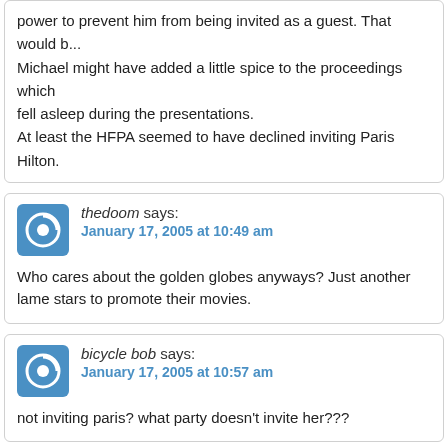power to prevent him from being invited as a guest. That would b... Michael might have added a little spice to the proceedings which fell asleep during the presentations. At least the HFPA seemed to have declined inviting Paris Hilton.
thedoom says: January 17, 2005 at 10:49 am
Who cares about the golden globes anyways? Just another lame stars to promote their movies.
bicycle bob says: January 17, 2005 at 10:57 am
not inviting paris? what party doesn't invite her???
Swampfox says: January 17, 2005 at 11:47 am
Considering what a dishonest ambush it was (although the one h... the last thing Moore should expect from Clark is fair play. That's...